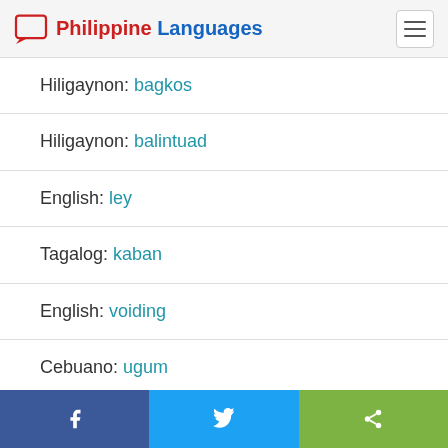Philippine Languages
Hiligaynon: bagkos
Hiligaynon: balintuad
English: ley
Tagalog: kaban
English: voiding
Cebuano: ugum
English: [partially visible]